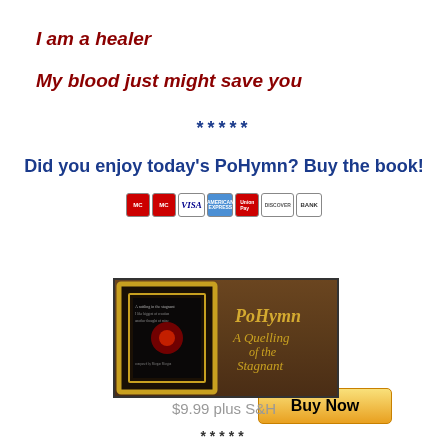I am a healer
My blood just might save you
*****
Did you enjoy today's PoHymn? Buy the book!
[Figure (illustration): Buy Now button with payment card icons (MasterCard, Visa, AmEx, UnionPay, Discover, Bank)]
[Figure (photo): Book cover for PoHymn: A Quelling of the Stagnant — dark ornate frame with gold text on wood background]
$9.99 plus S&H
*****